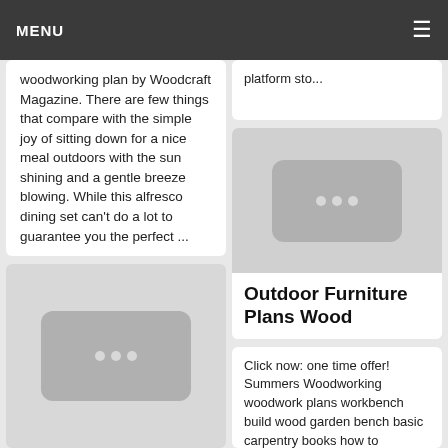MENU
woodworking plan by Woodcraft Magazine. There are few things that compare with the simple joy of sitting down for a nice meal outdoors with the sun shining and a gentle breeze blowing. While this alfresco dining set can't do a lot to guarantee you the perfect ...
platform sto...
[Figure (illustration): Grey placeholder image with three dots icon]
Outdoor Furniture Plans Wood
Click now: one time offer! Summers Woodworking woodwork plans workbench build wood garden bench basic carpentry books how to
[Figure (illustration): Grey placeholder image with three dots icon (bottom left)]